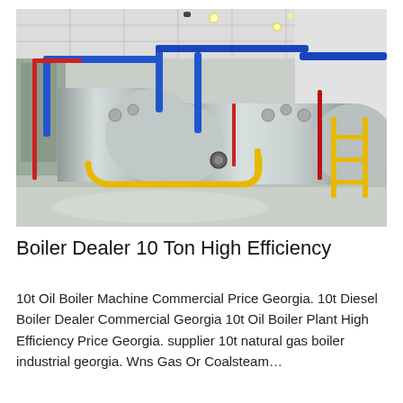[Figure (photo): Industrial boiler room with two large cylindrical boilers. Blue pipes run overhead and along the boilers, yellow safety railings on the right, red pipes on the left. The boilers are metallic silver/gray. White ceiling with grid tiles and lighting. Polished gray epoxy floor.]
Boiler Dealer 10 Ton High Efficiency
10t Oil Boiler Machine Commercial Price Georgia. 10t Diesel Boiler Dealer Commercial Georgia 10t Oil Boiler Plant High Efficiency Price Georgia. supplier 10t natural gas boiler industrial georgia. Wns Gas Or Coalsteam…